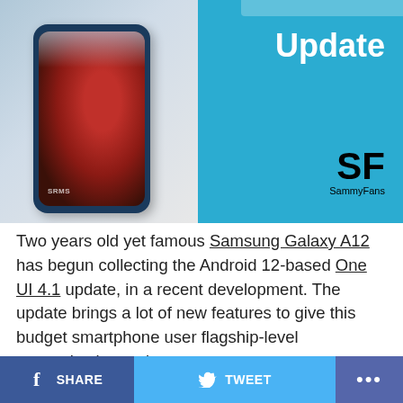[Figure (screenshot): Screenshot showing Samsung Galaxy A12 phone on left with blue/teal background, and right side showing 'Update' text in white on teal background with 'SF SammyFans' logo in black]
Two years old yet famous Samsung Galaxy A12 has begun collecting the Android 12-based One UI 4.1 update, in a recent development. The update brings a lot of new features to give this budget smartphone user flagship-level customization options.
Update: Sep. 05
Samsung has begun releasing the Android 12-based One UI 4.1 update to the Galaxy A12 smartphone users in the United States. The update